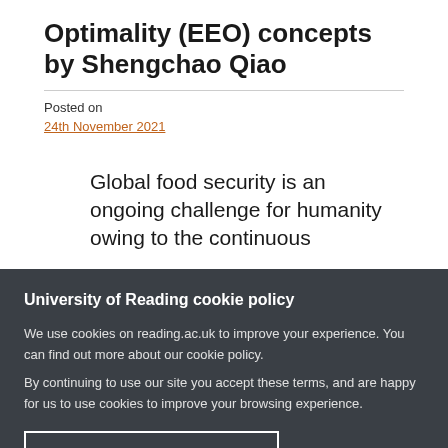Optimality (EEO) concepts by Shengchao Qiao
Posted on
24th November 2021
Global food security is an ongoing challenge for humanity owing to the continuous
University of Reading cookie policy
We use cookies on reading.ac.uk to improve your experience. You can find out more about our cookie policy.
By continuing to use our site you accept these terms, and are happy for us to use cookies to improve your browsing experience.
Continue using this website